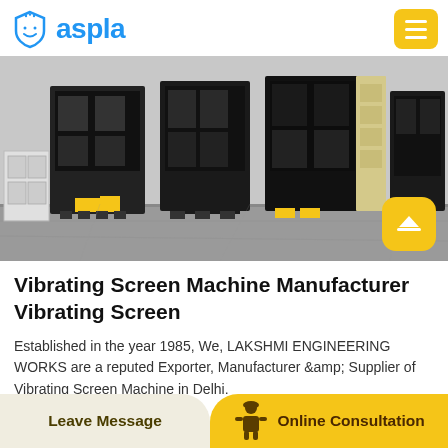aspla
[Figure (photo): Industrial vibrating screen machines stored in a warehouse/factory facility. Large black metal frames of screening equipment lined up on a concrete floor, with some yellow components visible.]
Vibrating Screen Machine Manufacturer Vibrating Screen
Established in the year 1985, We, LAKSHMI ENGINEERING WORKS are a reputed Exporter, Manufacturer &amp; Supplier of Vibrating Screen Machine in Delhi.
Leave Message    Online Consultation